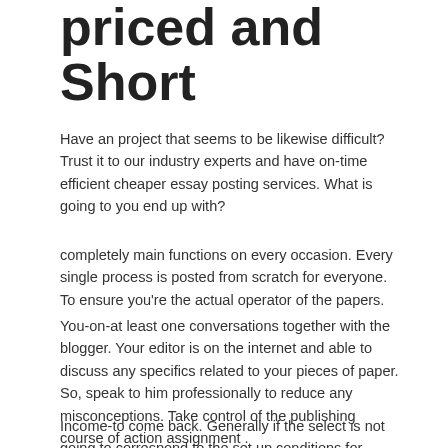priced and Short
Have an project that seems to be likewise difficult? Trust it to our industry experts and have on-time efficient cheaper essay posting services. What is going to you end up with?
completely main functions on every occasion. Every single process is posted from scratch for everyone. To ensure you're the actual operator of the papers.
You-on-at least one conversations together with the blogger. Your editor is on the internet and able to discuss any specifics related to your pieces of paper. So, speak to him professionally to reduce any misconceptions. Take control of the publishing course of action assignment .
Income-to come back. Generally if the select is not going to correspond to the set up conditions for